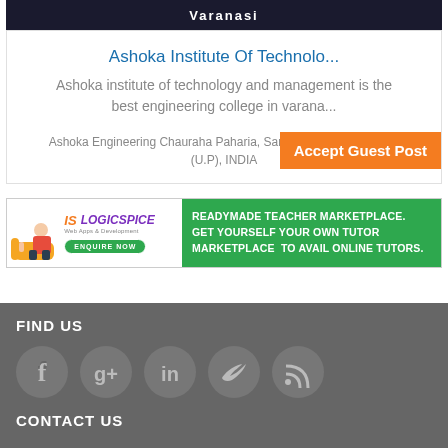[Figure (screenshot): Dark navy banner with 'Varanasi' text in white]
Ashoka Institute Of Technolo...
Ashoka institute of technology and management is the best engineering college in varana...
Ashoka Engineering Chauraha Paharia, Sarnath Varanasi-221007 (U.P), INDIA
Accept Guest Post
[Figure (screenshot): LogicSpice ad banner: READYMADE TEACHER MARKETPLACE. GET YOURSELF YOUR OWN TUTOR MARKETPLACE TO AVAIL ONLINE TUTORS. ENQUIRE NOW]
FIND US
[Figure (infographic): Social media icons: Facebook, Google+, LinkedIn, Twitter, RSS]
CONTACT US